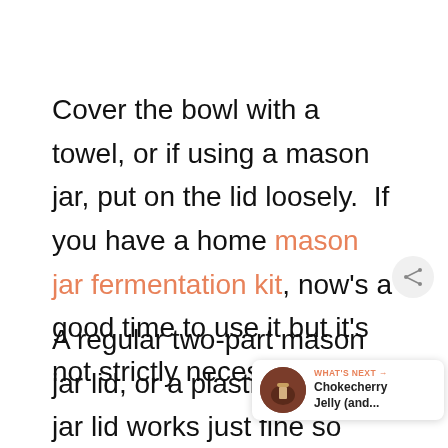Cover the bowl with a towel, or if using a mason jar, put on the lid loosely. If you have a home mason jar fermentation kit, now's a good time to use it but it's not strictly necessary.
A regular two-part mason jar lid, or a plastic mason jar lid works just fine so long as you remember to burp it daily so gasses don't build up too
[Figure (other): Share icon button (circular button with share symbol)]
[Figure (other): What's Next widget showing a jar image with text: WHAT'S NEXT → Chokecherry Jelly (and...]